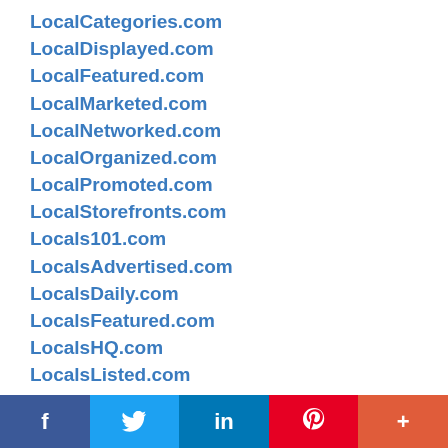LocalCategories.com
LocalDisplayed.com
LocalFeatured.com
LocalMarketed.com
LocalNetworked.com
LocalOrganized.com
LocalPromoted.com
LocalStorefronts.com
Locals101.com
LocalsAdvertised.com
LocalsDaily.com
LocalsFeatured.com
LocalsHQ.com
LocalsListed.com
Localzz101.com
Localzz360.com
[Figure (infographic): Social media sharing bar with Facebook, Twitter, LinkedIn, Pinterest, and More (+) buttons]